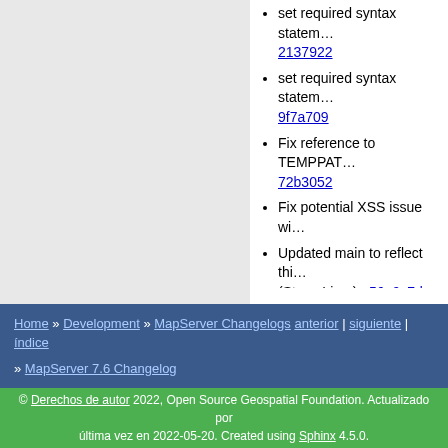set required syntax statem... 2137922
set required syntax statem... 9f7a709
Fix reference to TEMPPAT... 72b3052
Fix potential XSS issue wi...
Updated main to reflect thi... (Steve Lime) : 56a9c7d
Change DWITH_POINT_... 4f2a7db
Update mapquery.c (Dave...
Reduce log clutter from nc...
Correct wrong pointers (tla...
Fix white-space handling d...
Home » Development » MapServer Changelogs anterior | siguiente | índice » MapServer 7.6 Changelog
© Derechos de autor 2022, Open Source Geospatial Foundation. Actualizado por última vez en 2022-05-20. Created using Sphinx 4.5.0.